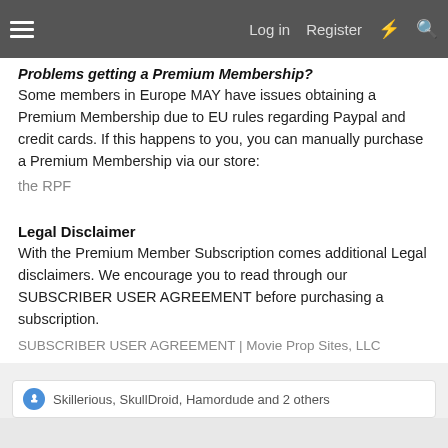Log in  Register
Problems getting a Premium Membership?
Some members in Europe MAY have issues obtaining a Premium Membership due to EU rules regarding Paypal and credit cards. If this happens to you, you can manually purchase a Premium Membership via our store:
the RPF
Legal Disclaimer
With the Premium Member Subscription comes additional Legal disclaimers. We encourage you to read through our SUBSCRIBER USER AGREEMENT before purchasing a subscription.
SUBSCRIBER USER AGREEMENT | Movie Prop Sites, LLC
Skillerious, SkullDroid, Hamordude and 2 others